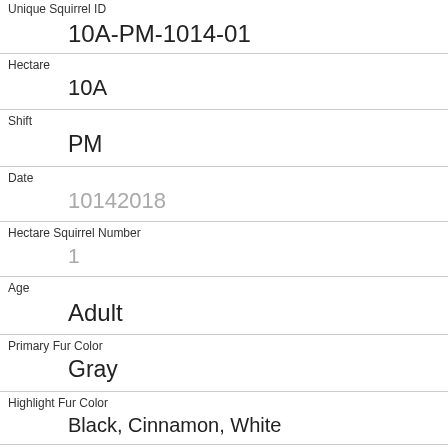| Unique Squirrel ID | 10A-PM-1014-01 |
| Hectare | 10A |
| Shift | PM |
| Date | 10142018 |
| Hectare Squirrel Number | 1 |
| Age | Adult |
| Primary Fur Color | Gray |
| Highlight Fur Color | Black, Cinnamon, White |
| Combination of Primary and Highlight Color | Gray+Black, Cinnamon, White |
| Color notes | Gray & White selected as Primary. Black & Cinnamon selected as Highlights. Made executive |